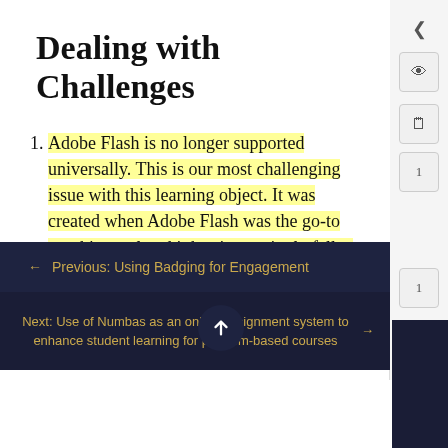Dealing with Challenges
Adobe Flash is no longer supported universally. This is our most challenging issue with this learning object. It was created when Adobe Flash was the go-to graphics tool and it has increasingly fallen out of favour since 2008.
Mobile devices are increasingly the student's access tool of choice and the
← Previous: Using Badging for Engagement
Next: Use of Numbas as an online assignment system to enhance student learning for problem-based courses →